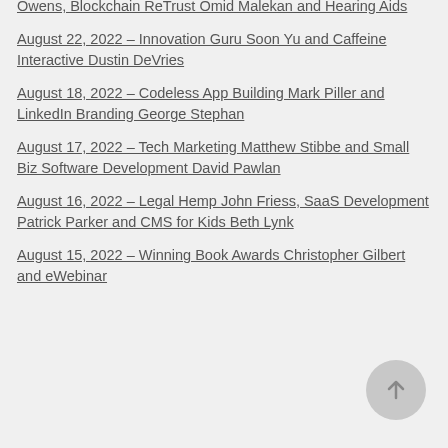Owens, Blockchain ReTrust Omid Malekan and Hearing Aids
August 22, 2022 – Innovation Guru Soon Yu and Caffeine Interactive Dustin DeVries
August 18, 2022 – Codeless App Building Mark Piller and LinkedIn Branding George Stephan
August 17, 2022 – Tech Marketing Matthew Stibbe and Small Biz Software Development David Pawlan
August 16, 2022 – Legal Hemp John Friess, SaaS Development Patrick Parker and CMS for Kids Beth Lynk
August 15, 2022 – Winning Book Awards Christopher Gilbert and eWebinar